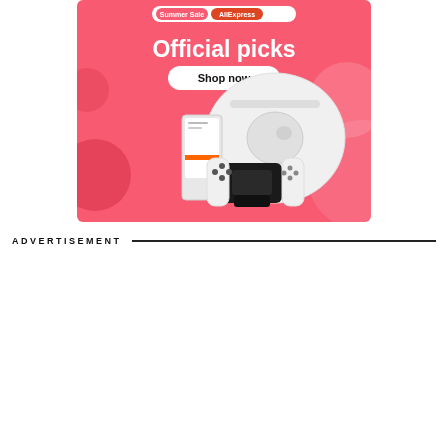[Figure (illustration): AliExpress Summer Sale advertisement banner with pink background, 'Official picks' headline, 'Shop now' button, and product images including a robot vacuum cleaner, smartphone/tablet device, and Nintendo Switch-style gaming controller with Joy-Cons.]
ADVERTISEMENT